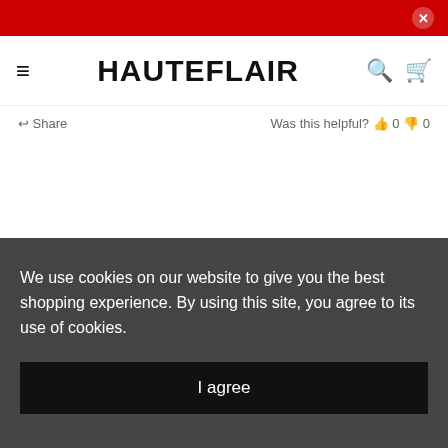HAUTEFLAIR
Share   Was this helpful? 0 0
You may also like
We use cookies on our website to give you the best shopping experience. By using this site, you agree to its use of cookies.
I agree